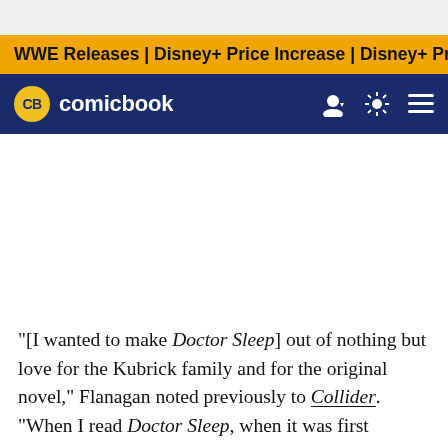WWE Releases | Disney+ Price Increase | Disney+ Price Incre…
[Figure (logo): Comicbook.com logo with CB badge in yellow circle on navy navigation bar with user icon, theme toggle, and hamburger menu]
"[I wanted to make Doctor Sleep] out of nothing but love for the Kubrick family and for the original novel," Flanagan noted previously to Collider. "When I read Doctor Sleep, when it was first published, I was so taken with getting to